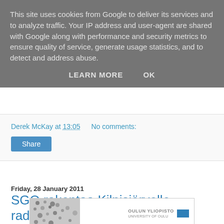This site uses cookies from Google to deliver its services and to analyze traffic. Your IP address and user-agent are shared with Google along with performance and security metrics to ensure quality of service, generate usage statistics, and to detect and address abuse.
LEARN MORE   OK
Derek McKay at 13:05   No comments:
Share
Friday, 28 January 2011
SGO rakentaa Kilpisjärvelle radiovastaanotin aseman
[Figure (logo): Oulun Yliopisto (University of Oulu) banner with decorative dots on the left and university logo text and flag on the right]